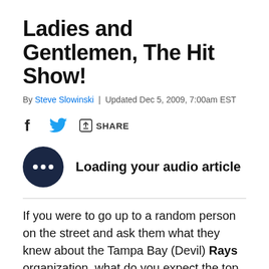Ladies and Gentlemen, The Hit Show!
By Steve Slowinski | Updated Dec 5, 2009, 7:00am EST
[Figure (infographic): Social sharing bar with Facebook icon, Twitter bird icon, and Share button with arrow icon]
[Figure (infographic): Audio article player: dark navy circle with three white dots (loading indicator), followed by bold text 'Loading your audio article']
If you were to go up to a random person on the street and ask them what they knew about the Tampa Bay (Devil) Rays organization, what do you expect the top answers would be?  Right now, my guess is the answers would fall something like this: 1) they stunk for a really long time, 2) they made the World Series recently, and 3) Carl Crawford